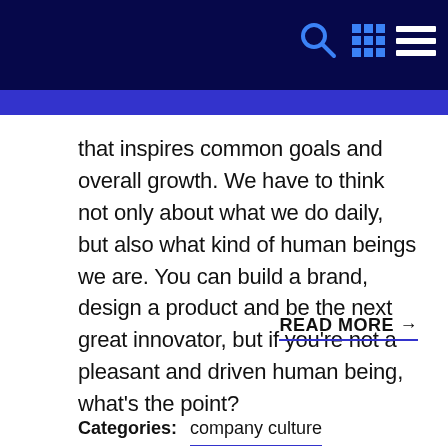Navigation header with search, grid, and menu icons
that inspires common goals and overall growth. We have to think not only about what we do daily, but also what kind of human beings we are. You can build a brand, design a product and be the next great innovator, but if you're not a pleasant and driven human being, what's the point?
READ MORE →
Categories: company culture  leadership  members  people/staff  productivity
Tags: company culture  direction inc.